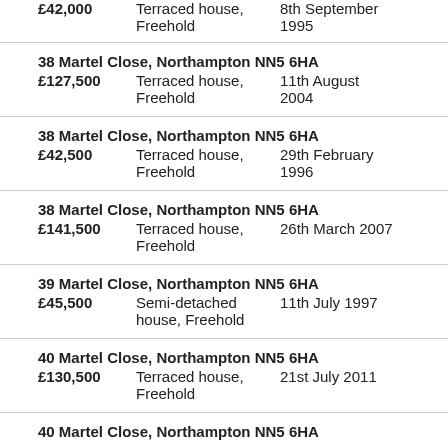£42,000  Terraced house, Freehold  8th September 1995
38 Martel Close, Northampton NN5 6HA
£127,500  Terraced house, Freehold  11th August 2004
38 Martel Close, Northampton NN5 6HA
£42,500  Terraced house, Freehold  29th February 1996
38 Martel Close, Northampton NN5 6HA
£141,500  Terraced house, Freehold  26th March 2007
39 Martel Close, Northampton NN5 6HA
£45,500  Semi-detached house, Freehold  11th July 1997
40 Martel Close, Northampton NN5 6HA
£130,500  Terraced house, Freehold  21st July 2011
40 Martel Close, Northampton NN5 6HA